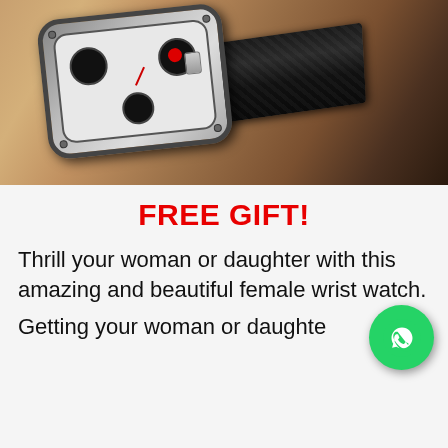[Figure (photo): A men's sports chronograph wristwatch with a black leather strap and silver multi-dial face, resting on a wooden surface. The watch has a hexagonal-style case with multiple sub-dials on a white/silver face.]
FREE GIFT!
Thrill your woman or daughter with this amazing and beautiful female wrist watch.
Getting your woman or daughter...